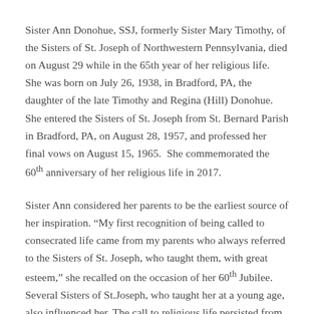Sister Ann Donohue, SSJ, formerly Sister Mary Timothy, of the Sisters of St. Joseph of Northwestern Pennsylvania, died on August 29 while in the 65th year of her religious life. She was born on July 26, 1938, in Bradford, PA, the daughter of the late Timothy and Regina (Hill) Donohue. She entered the Sisters of St. Joseph from St. Bernard Parish in Bradford, PA, on August 28, 1957, and professed her final vows on August 15, 1965. She commemorated the 60th anniversary of her religious life in 2017.
Sister Ann considered her parents to be the earliest source of her inspiration. “My first recognition of being called to consecrated life came from my parents who always referred to the Sisters of St. Joseph, who taught them, with great esteem,” she recalled on the occasion of her 60th Jubilee. Several Sisters of St.Joseph, who taught her at a young age, also influenced her. The call to religious life persisted from grade school through high school and into college when she